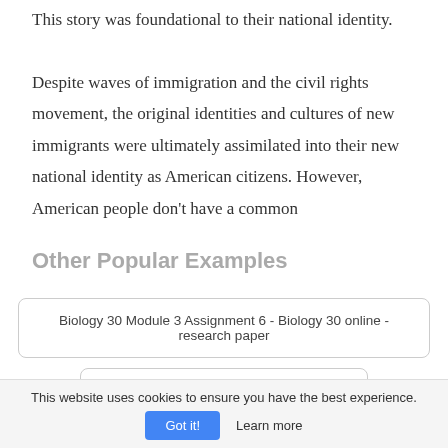This story was foundational to their national identity. Despite waves of immigration and the civil rights movement, the original identities and cultures of new immigrants were ultimately assimilated into their new national identity as American citizens. However, American people don't have a common
Other Popular Examples
Biology 30 Module 3 Assignment 6 - Biology 30 online - research paper
certified nurse assistant essay - ntcc - essay
This website uses cookies to ensure you have the best experience.
Got it!   Learn more